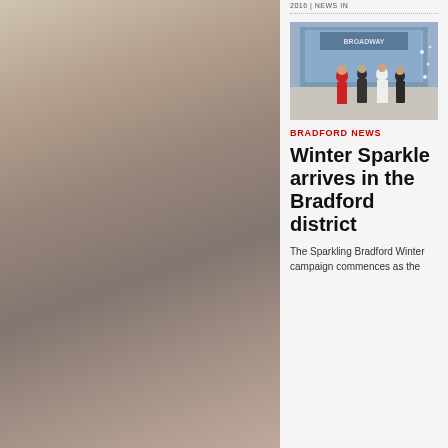2016 | NEWS IN
[Figure (photo): Three women standing outside a building entrance with decorative lights, Bradford city centre]
BRADFORD NEWS
Winter Sparkle arrives in the Bradford district
The Sparkling Bradford Winter campaign commences as the